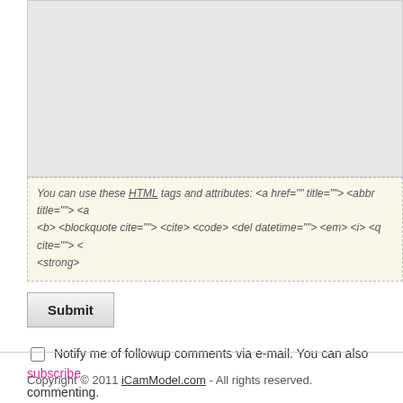You can use these HTML tags and attributes: <a href="" title=""> <abbr title=""> <a <b> <blockquote cite=""> <cite> <code> <del datetime=""> <em> <i> <q cite=""> < <strong>
Submit
Notify me of followup comments via e-mail. You can also subscribe commenting.
Copyright © 2011 iCamModel.com - All rights reserved.